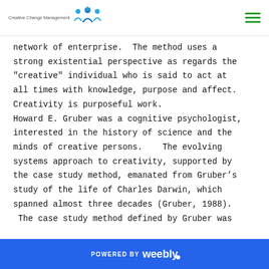Creative Change Management [logo]
network of enterprise.  The method uses a strong existential perspective as regards the "creative" individual who is said to act at all times with knowledge, purpose and affect. Creativity is purposeful work.
Howard E. Gruber was a cognitive psychologist, interested in the history of science and the minds of creative persons.   The evolving systems approach to creativity, supported by the case study method, emanated from Gruber’s study of the life of Charles Darwin, which spanned almost three decades (Gruber, 1988).  The case study method defined by Gruber was
POWERED BY weebly